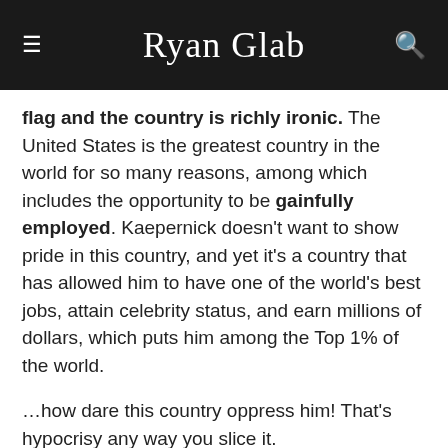Ryan Glab
flag and the country is richly ironic. The United States is the greatest country in the world for so many reasons, among which includes the opportunity to be gainfully employed. Kaepernick doesn’t want to show pride in this country, and yet it’s a country that has allowed him to have one of the world’s best jobs, attain celebrity status, and earn millions of dollars, which puts him among the Top 1% of the world.
…how dare this country oppress him! That’s hypocrisy any way you slice it.
2) Kaepernick’s intended target is way off … kind of like his passes. I recognize that there